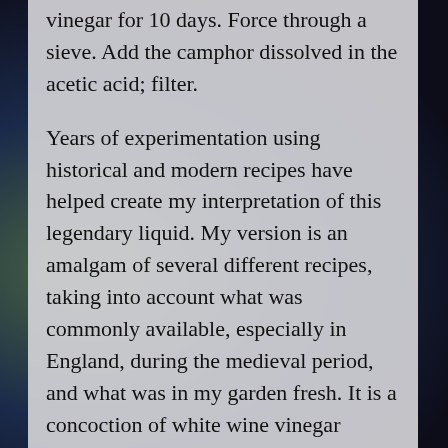vinegar for 10 days. Force through a sieve. Add the camphor dissolved in the acetic acid; filter.
Years of experimentation using historical and modern recipes have helped create my interpretation of this legendary liquid. My version is an amalgam of several different recipes, taking into account what was commonly available, especially in England, during the medieval period, and what was in my garden fresh. It is a concoction of white wine vinegar steeped in aromatic and antibacterial herbs such as garlic, rue, and wormwood for a number of